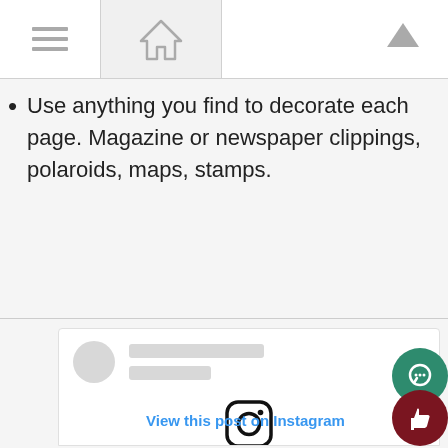[Navigation bar with menu, home, and up icons]
Use anything you find to decorate each page. Magazine or newspaper clippings, polaroids, maps, stamps.
[Figure (screenshot): Instagram post embed card showing a placeholder avatar, two grey loading lines, and the Instagram logo with a 'View this post on Instagram' link in blue. Two floating action buttons appear on the right: a teal comment button and a dark red thumbs-up button.]